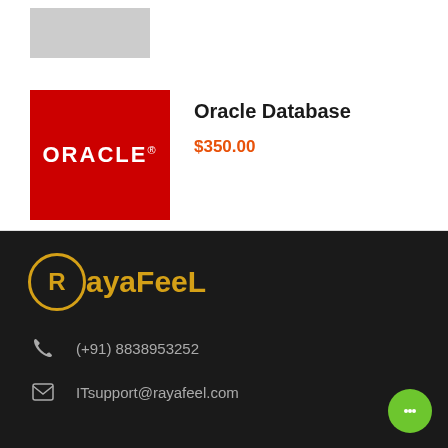[Figure (logo): Gray placeholder rectangle at top left]
[Figure (logo): Oracle red logo box with white ORACLE text]
Oracle Database
$350.00
[Figure (logo): RayaFeel logo with yellow circle R and yellow bold text]
(+91) 8838953252
ITsupport@rayafeel.com